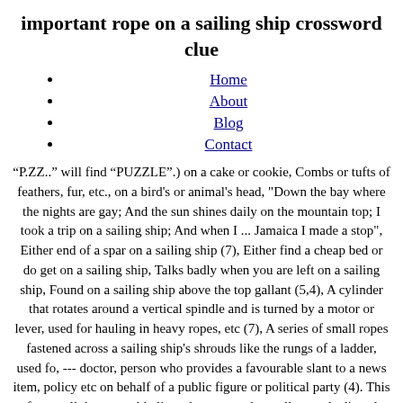important rope on a sailing ship crossword clue
Home
About
Blog
Contact
“P.ZZ..” will find “PUZZLE”.) on a cake or cookie, Combs or tufts of feathers, fur, etc., on a bird's or animal's head, "Down the bay where the nights are gay; And the sun shines daily on the mountain top; I took a trip on a sailing ship; And when I ... Jamaica I made a stop", Either end of a spar on a sailing ship (7), Either find a cheap bed or do get on a sailing ship, Talks badly when you are left on a sailing ship, Found on a sailing ship above the top gallant (5,4), A cylinder that rotates around a vertical spindle and is turned by a motor or lever, used for hauling in heavy ropes, etc (7), A series of small ropes fastened across a sailing ship's shrouds like the rungs of a ladder, used fo, --- doctor, person who provides a favourable slant to a news item, policy etc on behalf of a public figure or political party (4). This refers to all the moveable lines that are used to pull up and adjust the sails. (nautical) a small horizontal rope between the shrouds of a sailing ship; they form a ladder for